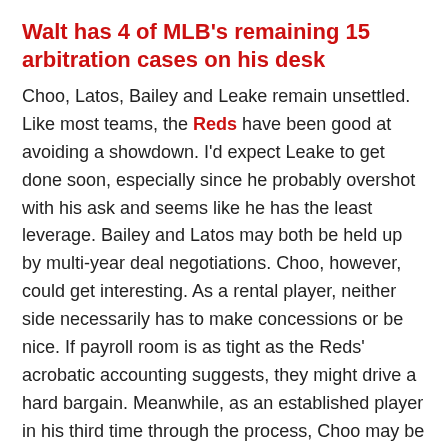Walt has 4 of MLB's remaining 15 arbitration cases on his desk
Choo, Latos, Bailey and Leake remain unsettled. Like most teams, the Reds have been good at avoiding a showdown. I'd expect Leake to get done soon, especially since he probably overshot with his ask and seems like he has the least leverage. Bailey and Latos may both be held up by multi-year deal negotiations. Choo, however, could get interesting. As a rental player, neither side necessarily has to make concessions or be nice. If payroll room is as tight as the Reds' acrobatic accounting suggests, they might drive a hard bargain. Meanwhile, as an established player in his third time through the process, Choo may be confident he picked the right number.